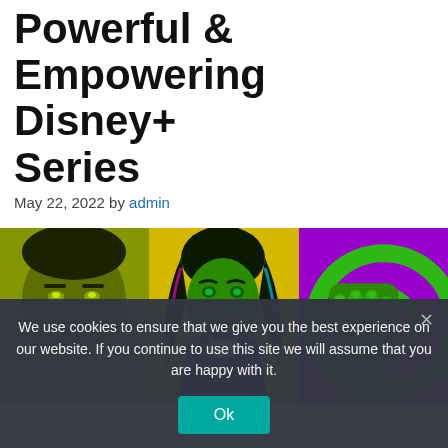Marvel's Most Powerful & Empowering Disney+ Series
May 22, 2022 by admin
[Figure (illustration): Three panel illustration of She-Hulk: left panel shows green-tinted face close-up on olive/yellow background, center panel shows animated She-Hulk character with purple outfit on yellow background, right panel shows green fist raised on purple background with green spiral.]
We use cookies to ensure that we give you the best experience on our website. If you continue to use this site we will assume that you are happy with it.